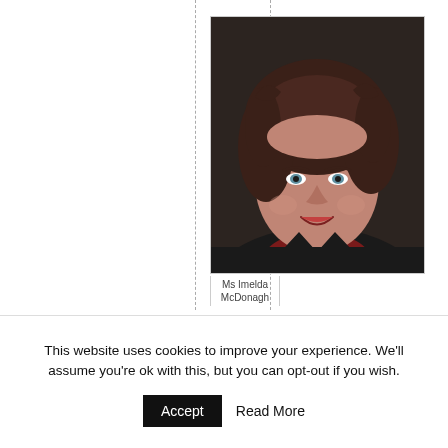[Figure (photo): Professional headshot of a woman with short dark brown wavy hair, wearing a black blazer over a dark red top, smiling, against a dark background. Caption reads 'Ms Imelda McDonagh'.]
Ms Imelda McDonagh
This website uses cookies to improve your experience. We'll assume you're ok with this, but you can opt-out if you wish.
Accept   Read More